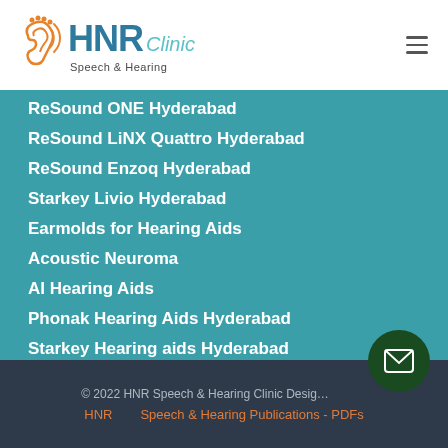[Figure (logo): HNR Speech & Hearing Clinic logo with orange ear icon]
ReSound ONE Hyderabad
ReSound LiNX Quattro Hyderabad
ReSound Enzoq Hyderabad
Starkey Livio Hyderabad
Earmolds for Hearing Aids
Acoustic Neuroma
AI Hearing Aids
Phonak Hearing Aids Hyderabad
Starkey Hearing aids Hyderabad
© 2022 HNR Speech & Hearing Clinic Desig…
HNR    Speech & Hearing Publications - PDFs